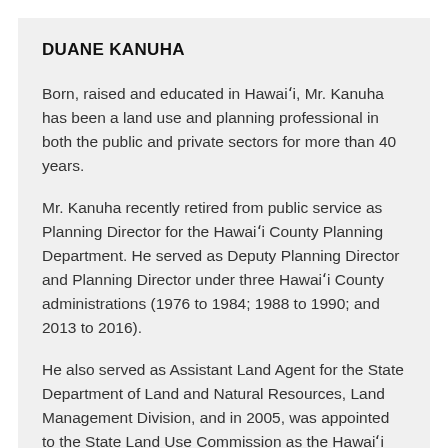DUANE KANUHA
Born, raised and educated in Hawaiʻi, Mr. Kanuha has been a land use and planning professional in both the public and private sectors for more than 40 years.
Mr. Kanuha recently retired from public service as Planning Director for the Hawaiʻi County Planning Department. He served as Deputy Planning Director and Planning Director under three Hawaiʻi County administrations (1976 to 1984; 1988 to 1990; and 2013 to 2016).
He also served as Assistant Land Agent for the State Department of Land and Natural Resources, Land Management Division, and in 2005, was appointed to the State Land Use Commission as the Hawaiʻi island